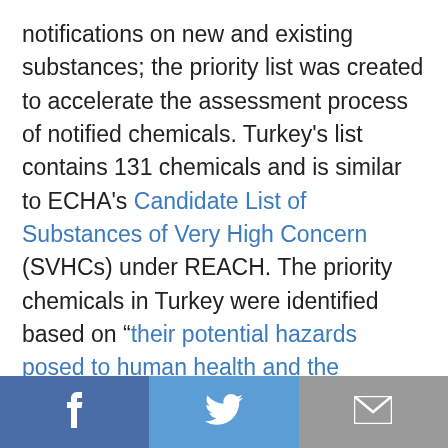notifications on new and existing substances; the priority list was created to accelerate the assessment process of notified chemicals. Turkey's list contains 131 chemicals and is similar to ECHA's Candidate List of Substances of Very High Concern (SVHCs) under REACH. The priority chemicals in Turkey were identified based on "their potential hazards posed to human health and the environment" (Chemical Watch, subscription required), and substances considered to be Carcinogenic, Mutagenic or Reproductive toxicants (CMR) were given particular priority by the MoEU.
[Figure (infographic): Social sharing bar with three buttons: Facebook (blue), Twitter (light blue), Email (grey)]